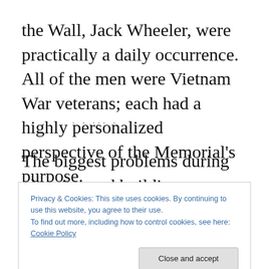the Wall, Jack Wheeler, were practically a daily occurrence. All of the men were Vietnam War veterans; each had a highly personalized perspective of the Memorial's purpose.
. . . ...
The biggest problems during planning and building were finding sponsors, raising money, and determining the Memorial's design. The earliest sponsor was Sen. John
Privacy & Cookies: This site uses cookies. By continuing to use this website, you agree to their use.
To find out more, including how to control cookies, see here: Cookie Policy
Close and accept
Washington, D.C. Money accumulated slowly but at an